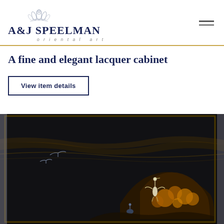A&J SPEELMAN oriental art
A fine and elegant lacquer cabinet
View item details
[Figure (photo): Close-up photograph of a fine and elegant lacquer cabinet with dark black background, featuring golden and blue decorative motifs of birds (cranes/herons) and flowering branches or rocks in a traditional East Asian style.]